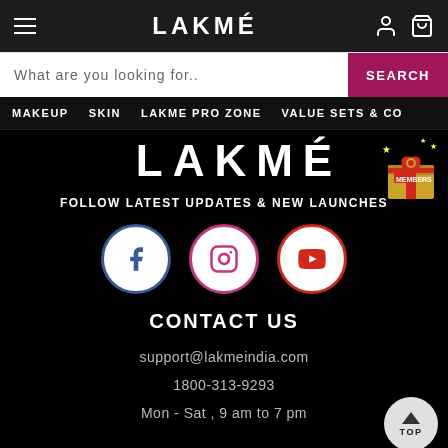LAKMÉ
What are you looking for..
SEARCH
MAKEUP
SKIN
LAKME PRO ZONE
VALUE SETS & CO
LAKMÉ
FOLLOW LATEST UPDATES & NEW LAUNCHES
[Figure (logo): Social media icons: Facebook, Instagram, YouTube circles]
CONTACT US
support@lakmeindia.com
1800-313-9293
Mon - Sat , 9 am to 7 pm